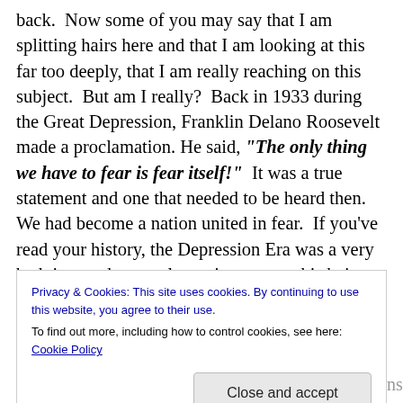back. Now some of you may say that I am splitting hairs here and that I am looking at this far too deeply, that I am really reaching on this subject. But am I really? Back in 1933 during the Great Depression, Franklin Delano Roosevelt made a proclamation. He said, "The only thing we have to fear is fear itself!" It was a true statement and one that needed to be heard then. We had become a nation united in fear. If you've read your history, the Depression Era was a very bad time and was only getting worse, this being due in large part to the attitude of fear and dread that held this country tightly in its grasp. The
Privacy & Cookies: This site uses cookies. By continuing to use this website, you agree to their use.
To find out more, including how to control cookies, see here: Cookie Policy
Close and accept
which had taken their jobs, their homes and their sense of